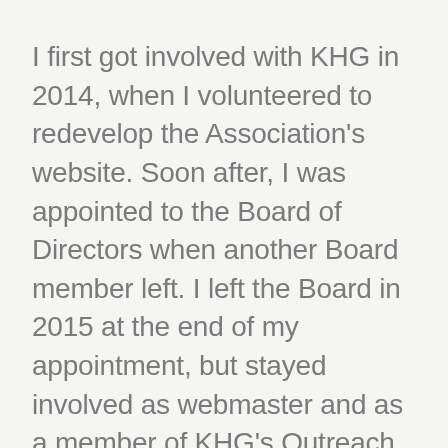I first got involved with KHG in 2014, when I volunteered to redevelop the Association's website. Soon after, I was appointed to the Board of Directors when another Board member left. I left the Board in 2015 at the end of my appointment, but stayed involved as webmaster and as a member of KHG's Outreach Committee. In 2016, I raised my hand to be on the Board again, and this last year I was honored to lead the Board as President.